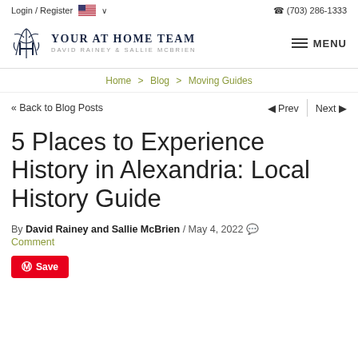Login / Register   🇺🇸 ∨     ☎ (703) 286-1333
[Figure (logo): Your At Home Team logo with stylized YH monogram, text: YOUR AT HOME TEAM, DAVID RAINEY & SALLIE MCBRIEN. Right side: hamburger menu icon and MENU text.]
Home > Blog > Moving Guides
« Back to Blog Posts    ◄ Prev  |  Next ►
5 Places to Experience History in Alexandria: Local History Guide
By David Rainey and Sallie McBrien / May 4, 2022 💬 Comment
Save